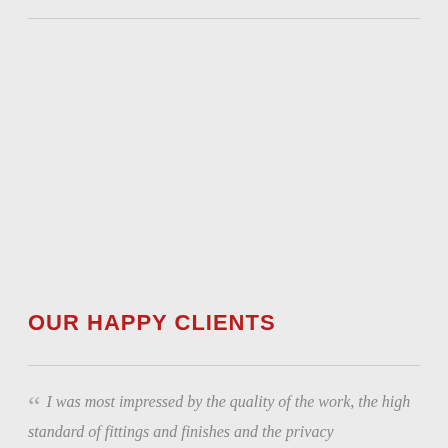OUR HAPPY CLIENTS
“ I was most impressed by the quality of the work, the high standard of fittings and finishes and the privacy